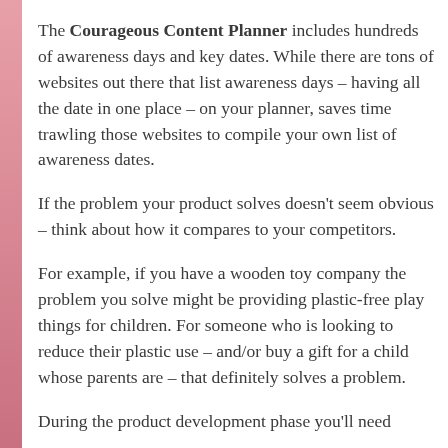The Courageous Content Planner includes hundreds of awareness days and key dates. While there are tons of websites out there that list awareness days – having all the date in one place – on your planner, saves time trawling those websites to compile your own list of awareness dates.
If the problem your product solves doesn't seem obvious – think about how it compares to your competitors.
For example, if you have a wooden toy company the problem you solve might be providing plastic-free play things for children. For someone who is looking to reduce their plastic use – and/or buy a gift for a child whose parents are – that definitely solves a problem.
During the product development phase you'll need